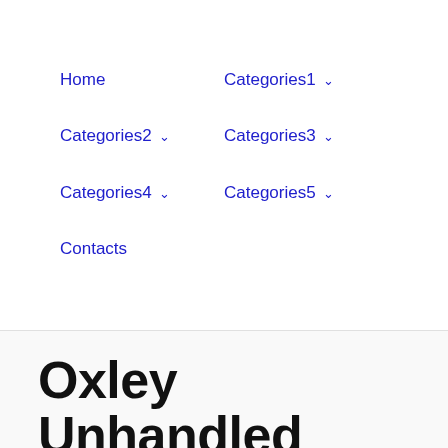Home
Categories1 ∨
Categories2 ∨
Categories3 ∨
Categories4 ∨
Categories5 ∨
Contacts
Oxley Unhandled Error In...